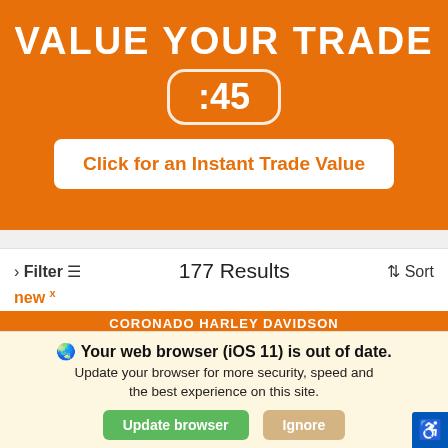VALUE YOUR TRADE
:45
Click for an Instant Trade Value
› Filter   177 Results   ⇅ Sort
new x
CORONADO HARLEY DAVIDSON
Your web browser (iOS 11) is out of date. Update your browser for more security, speed and the best experience on this site.
Update browser
Ignore